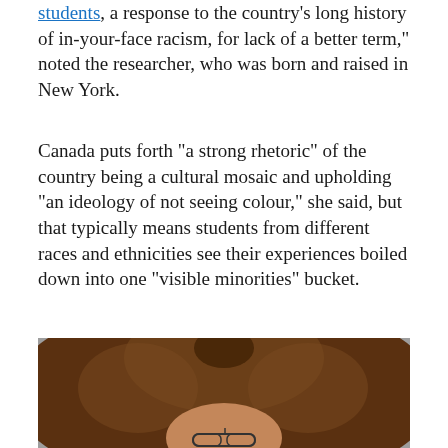students, a response to the country's long history of in-your-face racism, for lack of a better term," noted the researcher, who was born and raised in New York.
Canada puts forth "a strong rhetoric" of the country being a cultural mosaic and upholding "an ideology of not seeing colour," she said, but that typically means students from different races and ethnicities see their experiences boiled down into one "visible minorities" bucket.
[Figure (photo): A portrait photograph of a woman with a large natural afro hairstyle and glasses, shown from roughly the shoulders up, against a gray background.]